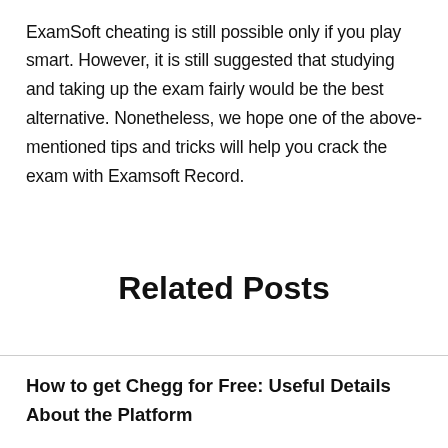ExamSoft cheating is still possible only if you play smart. However, it is still suggested that studying and taking up the exam fairly would be the best alternative. Nonetheless, we hope one of the above-mentioned tips and tricks will help you crack the exam with Examsoft Record.
Related Posts
How to get Chegg for Free: Useful Details About the Platform